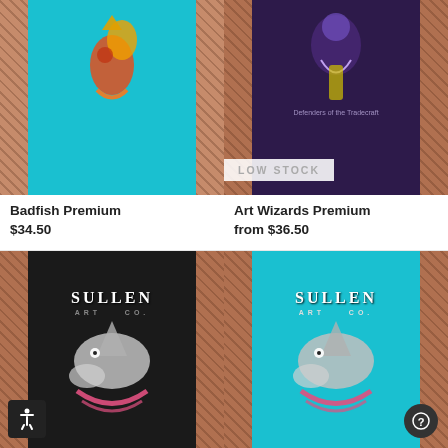[Figure (photo): Teal t-shirt with colorful fish graphic on front, modeled by tattooed person]
[Figure (photo): Dark purple t-shirt with art wizards graphic and text 'Defenders of the Tradecraft', modeled by tattooed person, LOW STOCK badge shown]
Badfish Premium
$34.50
Art Wizards Premium
from $36.50
[Figure (photo): Black t-shirt with Sullen Art Co. shark graphic on back, modeled by tattooed person]
[Figure (photo): Teal t-shirt with Sullen Art Co. shark graphic on back, modeled by tattooed person]